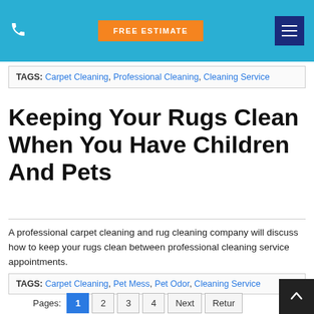FREE ESTIMATE | Menu
TAGS: Carpet Cleaning, Professional Cleaning, Cleaning Service
Keeping Your Rugs Clean When You Have Children And Pets
A professional carpet cleaning and rug cleaning company will discuss how to keep your rugs clean between professional cleaning service appointments.
TAGS: Carpet Cleaning, Pet Mess, Pet Odor, Cleaning Service
Pages: 1 2 3 4 Next Retur